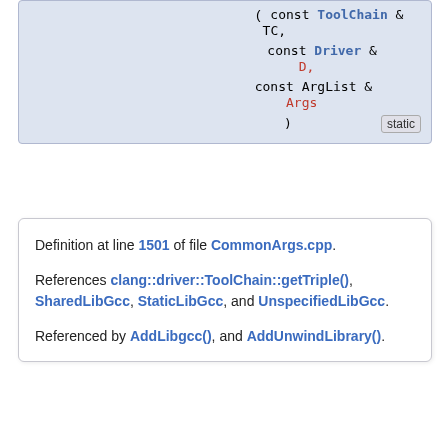( const Driver & D,
  const ArgList & Args
)
static
Definition at line 1501 of file CommonArgs.cpp.
References clang::driver::ToolChain::getTriple(), SharedLibGcc, StaticLibGcc, and UnspecifiedLibGcc.
Referenced by AddLibgcc(), and AddUnwindLibrary().
◆ getWebAssemblyTargetCPU()
static StringRef
getWebAssemblyTargetCPU ( const ArgList & Args ) static
Get the (LLVM) name of the WebAssembly cpu we are targeting.
Definition at line 334 of file CommonArgs.cpp.